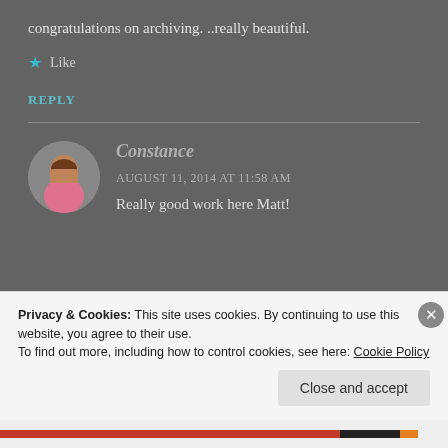congratulations on archiving. ..really beautiful.
Like
REPLY
[Figure (photo): Circular avatar photo of Constance, showing a person in a pink top]
Constance
AUGUST 11, 2014 AT 11:58 AM
Really good work here Matt!
Privacy & Cookies: This site uses cookies. By continuing to use this website, you agree to their use.
To find out more, including how to control cookies, see here: Cookie Policy
Close and accept